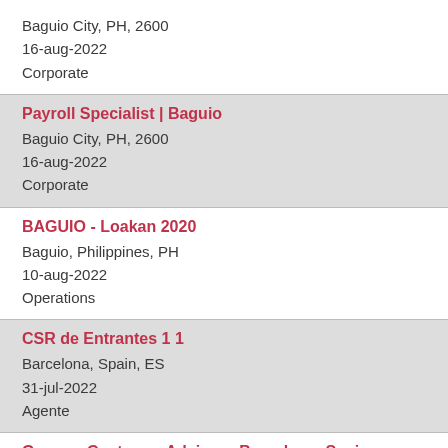Baguio City, PH, 2600
16-aug-2022
Corporate
Payroll Specialist | Baguio
Baguio City, PH, 2600
16-aug-2022
Corporate
BAGUIO - Loakan 2020
Baguio, Philippines, PH
10-aug-2022
Operations
CSR de Entrantes 1 1
Barcelona, Spain, ES
31-jul-2022
Agente
German Customer Advisor - Barcelona, Spain
Barcelona, Spain, ES